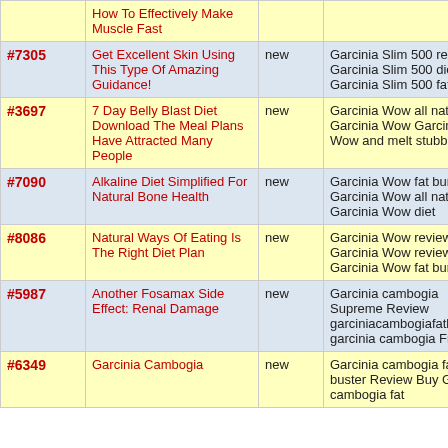| # | Title | Status | Keywords |
| --- | --- | --- | --- |
|  | How To Effectively Make Muscle Fast |  |  |
| #7305 | Get Excellent Skin Using This Type Of Amazing Guidance! | new | Garcinia Slim 500 reviews Garcinia Slim 500 diet Garcinia Slim 500 fat burn |
| #3697 | 7 Day Belly Blast Diet Download The Meal Plans Have Attracted Many People | new | Garcinia Wow all natural Garcinia Wow Garcinia Wow and melt stubborn fat |
| #7090 | Alkaline Diet Simplified For Natural Bone Health | new | Garcinia Wow fat burn Garcinia Wow all natural Garcinia Wow diet |
| #8086 | Natural Ways Of Eating Is The Right Diet Plan | new | Garcinia Wow reviews Garcinia Wow reviews Garcinia Wow fat burn |
| #5987 | Another Fosamax Side Effect: Renal Damage | new | Garcinia cambogia Supreme Review garciniacambogiafatbusters.com garcinia cambogia Fruit |
| #6349 | Garcinia Cambogia | new | Garcinia cambogia fat buster Review Buy Garcinia cambogia fat |